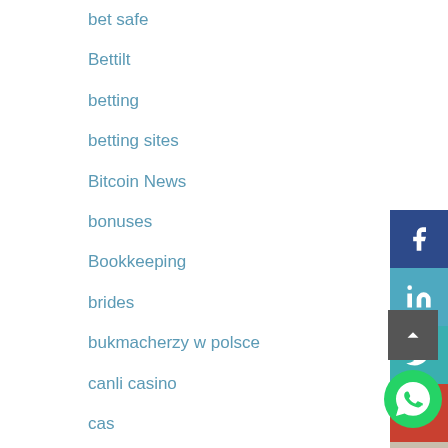bet safe
Bettilt
betting
betting sites
Bitcoin News
bonuses
Bookkeeping
brides
bukmacherzy w polsce
canli casino
cas
Casino
cbd
Chinese Brides
Chinese Dating
[Figure (infographic): Social media share buttons sidebar: Facebook (dark blue, f icon), LinkedIn (teal, in icon), Twitter (teal, bird icon), Google+ (red, g+ icon), Instagram (beige, camera icon). Below: back-to-top arrow button (grey), WhatsApp floating button (green circle with phone icon).]